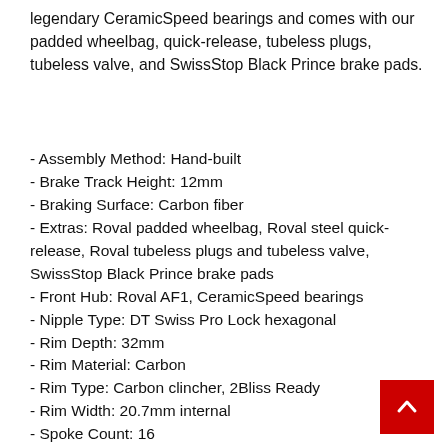legendary CeramicSpeed bearings and comes with our padded wheelbag, quick-release, tubeless plugs, tubeless valve, and SwissStop Black Prince brake pads.
- Assembly Method: Hand-built
- Brake Track Height: 12mm
- Braking Surface: Carbon fiber
- Extras: Roval padded wheelbag, Roval steel quick-release, Roval tubeless plugs and tubeless valve, SwissStop Black Prince brake pads
- Front Hub: Roval AF1, CeramicSpeed bearings
- Nipple Type: DT Swiss Pro Lock hexagonal
- Rim Depth: 32mm
- Rim Material: Carbon
- Rim Type: Carbon clincher, 2Bliss Ready
- Rim Width: 20.7mm internal
- Spoke Count: 16
- Spoke Pattern: Radial
- Spoke Type: DT Swiss Aerolite T-head